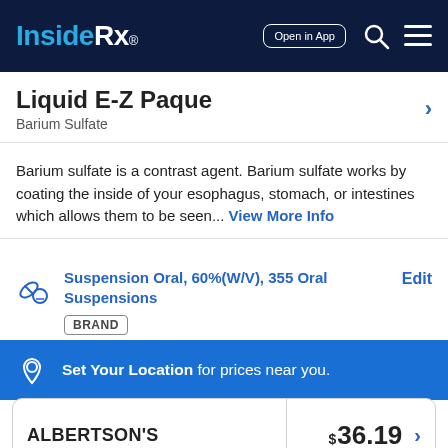Inside Rx® — Open in App
Liquid E-Z Paque
Barium Sulfate
Barium sulfate is a contrast agent. Barium sulfate works by coating the inside of your esophagus, stomach, or intestines which allows them to be seen... View More Info
Suspension Oral, 60%(W/V), 355 Oral Suspensions
BRAND
Edit
Set Your Location for prices near you.
| Pharmacy | Price |
| --- | --- |
| ALBERTSON'S | $36.19 |